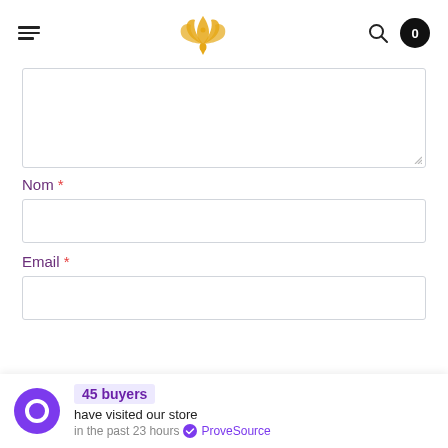Navigation header with hamburger menu, lotus flower logo, search icon, and cart badge showing 0
[Figure (screenshot): A textarea input box (form field) with resize handle in bottom-right corner]
Nom *
[Figure (screenshot): Text input field for Nom (Name)]
Email *
[Figure (screenshot): Text input field for Email]
45 buyers have visited our store in the past 23 hours ProveSource